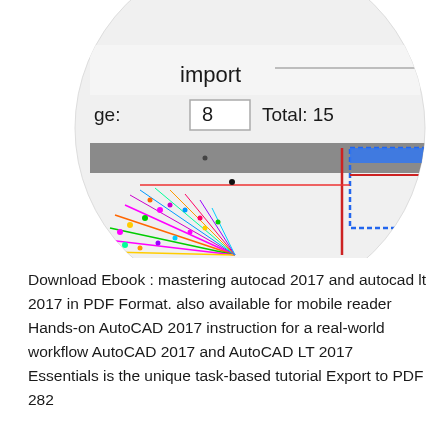[Figure (screenshot): A circular zoomed-in screenshot of an AutoCAD PDF import dialog showing fields 'import' as label fragment, 'ge: 8' (page field) and 'Total: 15', with a gray toolbar bar and below it a colorful AutoCAD drawing with colored dots/lines arranged in a fan pattern on the left, and blue/red border lines on the right.]
Download Ebook : mastering autocad 2017 and autocad lt 2017 in PDF Format. also available for mobile reader Hands-on AutoCAD 2017 instruction for a real-world workflow AutoCAD 2017 and AutoCAD LT 2017 Essentials is the unique task-based tutorial Export to PDF 282